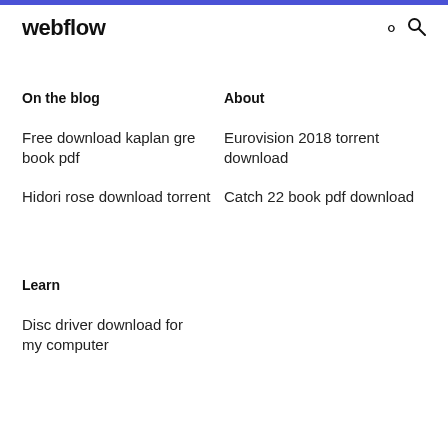webflow
On the blog
About
Free download kaplan gre book pdf
Eurovision 2018 torrent download
Hidori rose download torrent
Catch 22 book pdf download
Learn
Disc driver download for my computer